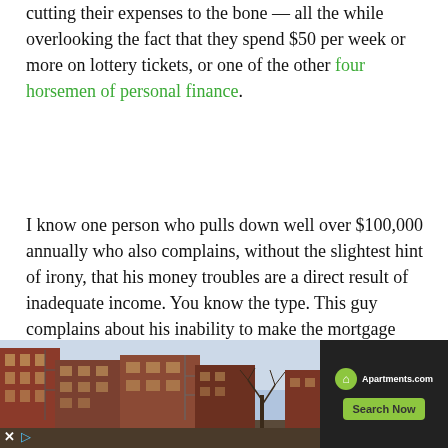cutting their expenses to the bone — all the while overlooking the fact that they spend $50 per week or more on lottery tickets, or one of the other four horsemen of personal finance.
I know one person who pulls down well over $100,000 annually who also complains, without the slightest hint of irony, that his money troubles are a direct result of inadequate income. You know the type. This guy complains about his inability to make the mortgage payment even though he's got a pair of new luxury cars sitting in the driveway that he purchased within the last two years.
It's hard to spend less than you earn when you can't tell the difference between a want and a need, when you can't control your urge for instant gratification, or when you
[Figure (photo): Advertisement banner for Apartments.com showing a photo of brick apartment buildings with fire escapes, an Apartments.com logo with green icon, and a green 'Search Now' button on a dark background.]